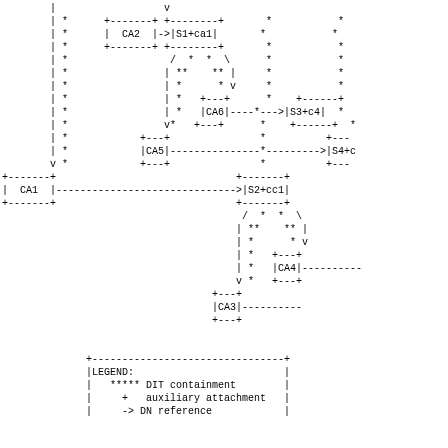[Figure (engineering-diagram): ASCII art diagram showing a hierarchical/network structure with nodes CA1, CA2, CA3, CA4, CA5, CA6 connected to S1+ca1, S2+cc1, S3+c4, S4+c (partial), with DIT containment (****), auxiliary attachment (+), and DN reference (->) relationships shown.]
LEGEND:
  ***** DIT containment
    +   auxiliary attachment
    ->  DN reference